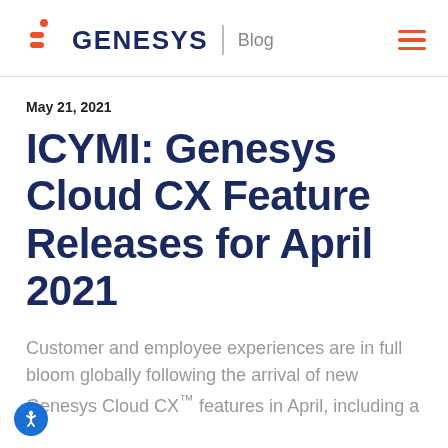GENESYS | Blog
May 21, 2021
ICYMI: Genesys Cloud CX Feature Releases for April 2021
Customer and employee experiences are in full bloom globally following the arrival of new Genesys Cloud CX™ features in April, including a